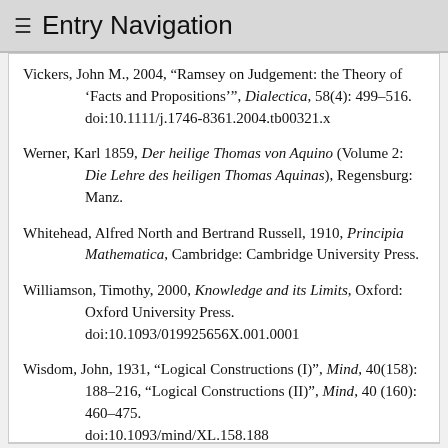≡ Entry Navigation
Vickers, John M., 2004, "Ramsey on Judgement: the Theory of 'Facts and Propositions'", Dialectica, 58(4): 499–516. doi:10.1111/j.1746-8361.2004.tb00321.x
Werner, Karl 1859, Der heilige Thomas von Aquino (Volume 2: Die Lehre des heiligen Thomas Aquinas), Regensburg: Manz.
Whitehead, Alfred North and Bertrand Russell, 1910, Principia Mathematica, Cambridge: Cambridge University Press.
Williamson, Timothy, 2000, Knowledge and its Limits, Oxford: Oxford University Press. doi:10.1093/019925656X.001.0001
Wisdom, John, 1931, "Logical Constructions (I)", Mind, 40(158): 188–216, "Logical Constructions (II)", Mind, 40 (160): 460–475. doi:10.1093/mind/XL.158.188 doi:10.1093/mind/XL.160.460
1978, Problems of Mind and Matter, Cambridge...